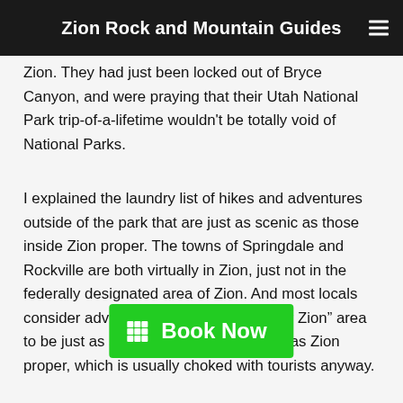Zion Rock and Mountain Guides
Zion. They had just been locked out of Bryce Canyon, and were praying that their Utah National Park trip-of-a-lifetime wouldn't be totally void of National Parks.
I explained the laundry list of hikes and adventures outside of the park that are just as scenic as those inside Zion proper. The towns of Springdale and Rockville are both virtually in Zion, just not in the federally designated area of Zion. And most locals consider adventuring in the vast “greater Zion” area to be just as spectacular and rewarding as Zion proper, which is usually choked with tourists anyway.
A group of adventurous types from Salt Lake City came in to t[...] to complete their narrows hike without getting busted by the park. They [...]
[Figure (other): Green 'Book Now' button with calendar grid icon]